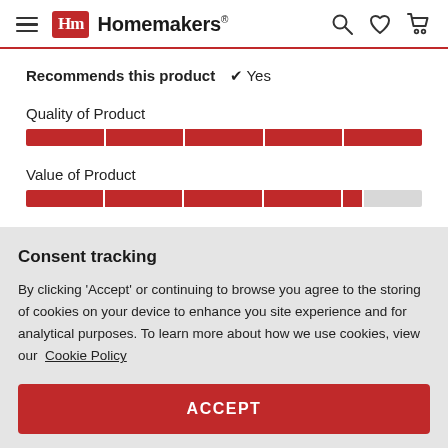[Figure (screenshot): Homemakers website header with hamburger menu, logo, search, wishlist, and cart icons]
Recommends this product ✔ Yes
Quality of Product
[Figure (infographic): Full red rating bar for Quality of Product]
Value of Product
[Figure (infographic): Partial red rating bar for Value of Product, approximately 82% filled]
Consent tracking
By clicking 'Accept' or continuing to browse you agree to the storing of cookies on your device to enhance you site experience and for analytical purposes. To learn more about how we use cookies, view our  Cookie Policy
ACCEPT